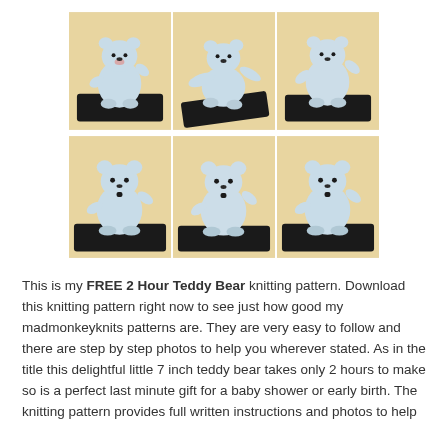[Figure (photo): Six-panel photo grid showing a small hand-knitted blue teddy bear from various angles, posed on a black rectangular base against a peach/yellow background.]
This is my FREE 2 Hour Teddy Bear knitting pattern. Download this knitting pattern right now to see just how good my madmonkeyknits patterns are. They are very easy to follow and there are step by step photos to help you wherever stated. As in the title this delightful little 7 inch teddy bear takes only 2 hours to make so is a perfect last minute gift for a baby shower or early birth. The knitting pattern provides full written instructions and photos to help